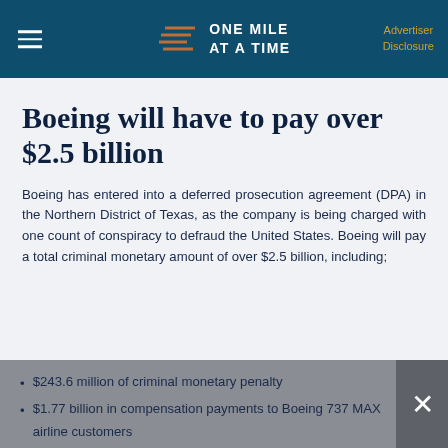ONE MILE AT A TIME | Advertiser Disclosure
Boeing will have to pay over $2.5 billion
Boeing has entered into a deferred prosecution agreement (DPA) in the Northern District of Texas, as the company is being charged with one count of conspiracy to defraud the United States. Boeing will pay a total criminal monetary amount of over $2.5 billion, including;
$243.6 million of criminal monetary penalty
$1.77 billion in compensation payments to Boeing 737 MAX airline customers